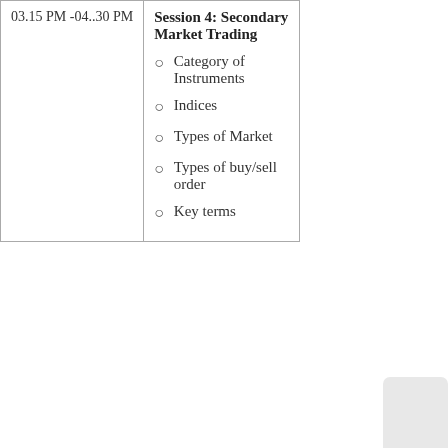| Time | Session |
| --- | --- |
| 03.15 PM -04..30 PM | Session 4: Secondary Market Trading
• Category of Instruments
• Indices
• Types of Market
• Types of buy/sell order
• Key terms |
[Figure (screenshot): Accessibility button (purple) and chat button (green) UI overlay elements in the bottom right area of the page]